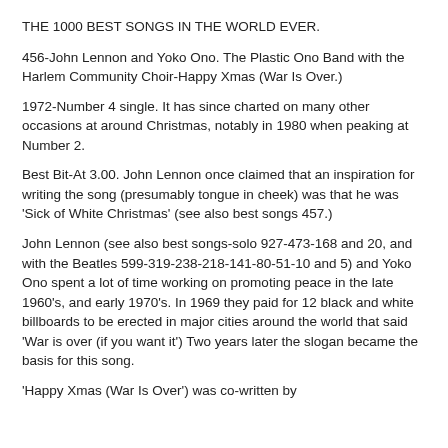THE 1000 BEST SONGS IN THE WORLD EVER.
456-John Lennon and Yoko Ono. The Plastic Ono Band with the Harlem Community Choir-Happy Xmas (War Is Over.)
1972-Number 4 single. It has since charted on many other occasions at around Christmas, notably in 1980 when peaking at Number 2.
Best Bit-At 3.00. John Lennon once claimed that an inspiration for writing the song (presumably tongue in cheek) was that he was 'Sick of White Christmas' (see also best songs 457.)
John Lennon (see also best songs-solo 927-473-168 and 20, and with the Beatles 599-319-238-218-141-80-51-10 and 5) and Yoko Ono spent a lot of time working on promoting peace in the late 1960's, and early 1970's. In 1969 they paid for 12 black and white billboards to be erected in major cities around the world that said 'War is over (if you want it') Two years later the slogan became the basis for this song.
'Happy Xmas (War Is Over') was co-written by